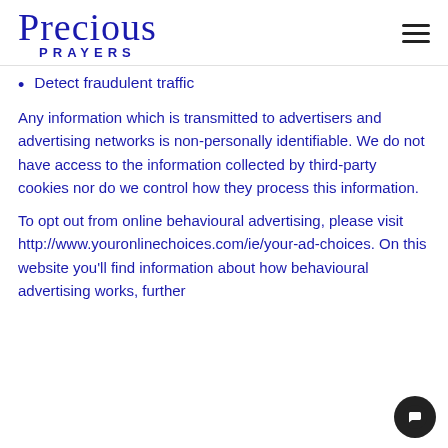Precious Prayers
Detect fraudulent traffic
Any information which is transmitted to advertisers and advertising networks is non-personally identifiable. We do not have access to the information collected by third-party cookies nor do we control how they process this information.
To opt out from online behavioural advertising, please visit http://www.youronlinechoices.com/ie/your-ad-choices. On this website you'll find information about how behavioural advertising works, further